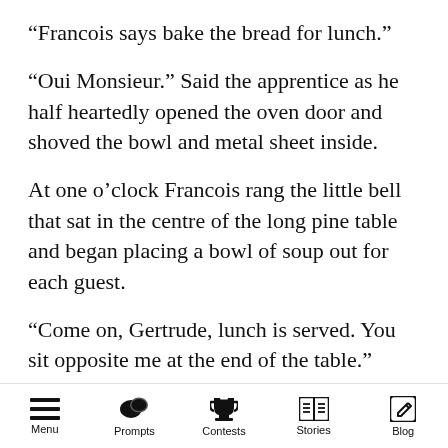“Francois says bake the bread for lunch.”
“Oui Monsieur.” Said the apprentice as he half heartedly opened the oven door and shoved the bowl and metal sheet inside.
At one o’clock Francois rang the little bell that sat in the centre of the long pine table and began placing a bowl of soup out for each guest.
“Come on, Gertrude, lunch is served. You sit opposite me at the end of the table.” Clive and Gertrude took their places at the table, along with the other guests. Fayette stood near the kitchen door, waiting to help with clearing away the dishes
Menu | Prompts | Contests | Stories | Blog